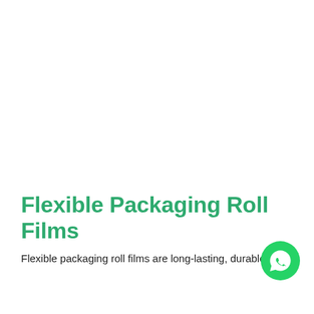Flexible Packaging Roll Films
Flexible packaging roll films are long-lasting, durable,
[Figure (logo): WhatsApp circular green button icon]